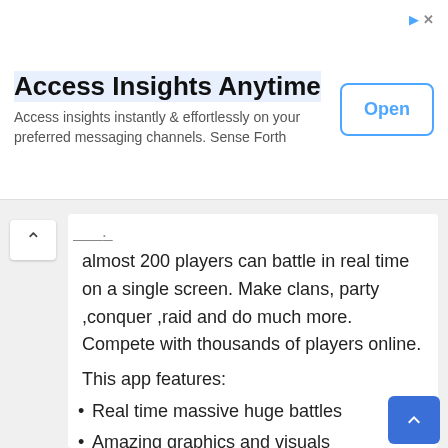[Figure (screenshot): Ad banner: 'Access Insights Anytime' with subtitle 'Access insights instantly & effortlessly on your preferred messaging channels. Sense Forth' and an 'Open' button]
almost 200 players can battle in real time on a single screen. Make clans, party ,conquer ,raid and do much more. Compete with thousands of players online.
This app features:
Real time massive huge battles
Amazing graphics and visuals
Open World
Clans and Guilds
There are much more features which you can experience while playing the game. The game is found off...